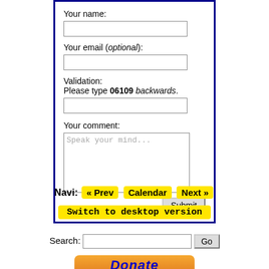Your name:
Your email (optional):
Validation:
Please type 06109 backwards.
Your comment:
Navi: « Prev  Calendar  Next »
Switch to desktop version
Search:
Donate